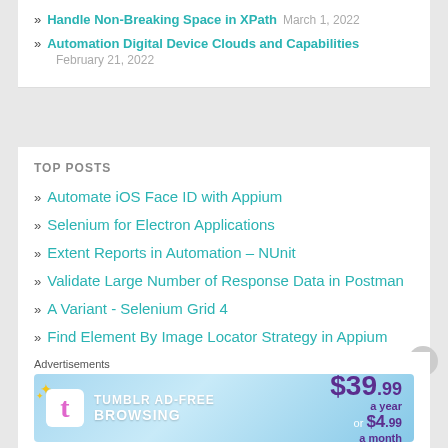» Handle Non-Breaking Space in XPath  March 1, 2022
» Automation Digital Device Clouds and Capabilities  February 21, 2022
TOP POSTS
» Automate iOS Face ID with Appium
» Selenium for Electron Applications
» Extent Reports in Automation – NUnit
» Validate Large Number of Response Data in Postman
» A Variant - Selenium Grid 4
» Find Element By Image Locator Strategy in Appium
» Speed Up Android Appium Test Automation
Advertisements
[Figure (other): Tumblr Ad-Free Browsing advertisement banner: $39.99 a year or $4.99 a month]